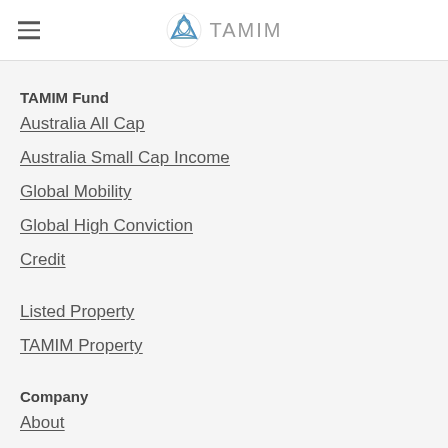TAMIM
TAMIM Fund
Australia All Cap
Australia Small Cap Income
Global Mobility
Global High Conviction
Credit
Listed Property
TAMIM Property
Company
About